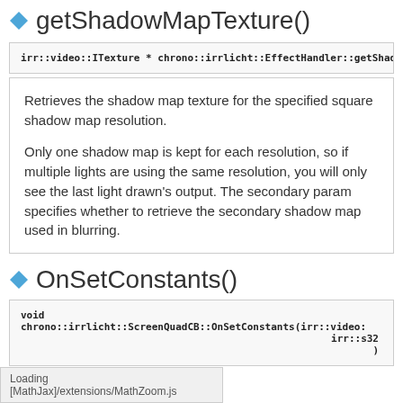getShadowMapTexture()
irr::video::ITexture * chrono::irrlicht::EffectHandler::getShadowMapTexture(...)
Retrieves the shadow map texture for the specified square shadow map resolution.

Only one shadow map is kept for each resolution, so if multiple lights are using the same resolution, you will only see the last light drawn's output. The secondary param specifies whether to retrieve the secondary shadow map used in blurring.
OnSetConstants()
void chrono::irrlicht::ScreenQuadCB::OnSetConstants(irr::video:: ... irr::s32 )
Loading [MathJax]/extensions/MathZoom.js